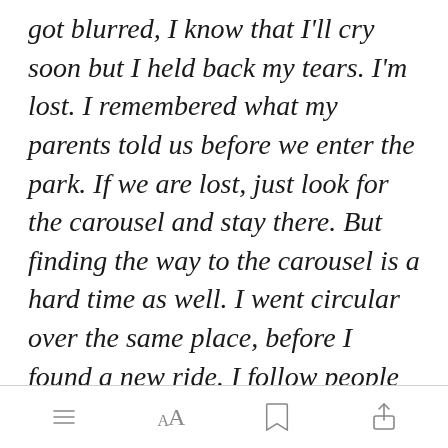got blurred, I know that I'll cry soon but I held back my tears. I'm lost. I remembered what my parents told us before we enter the park. If we are lost, just look for the carousel and stay there. But finding the way to the carousel is a hard time as well. I went circular over the same place, before I found a new ride. I follow people and I saw the carousel. I moved around [Open in app] my family
[menu icon] [AA icon] [bookmark icon] [share icon]